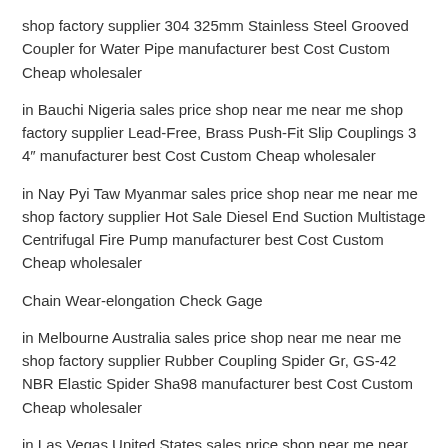shop factory supplier 304 325mm Stainless Steel Grooved Coupler for Water Pipe manufacturer best Cost Custom Cheap wholesaler
in Bauchi Nigeria sales price shop near me near me shop factory supplier Lead-Free, Brass Push-Fit Slip Couplings 3 4″ manufacturer best Cost Custom Cheap wholesaler
in Nay Pyi Taw Myanmar sales price shop near me near me shop factory supplier Hot Sale Diesel End Suction Multistage Centrifugal Fire Pump manufacturer best Cost Custom Cheap wholesaler
Chain Wear-elongation Check Gage
in Melbourne Australia sales price shop near me near me shop factory supplier Rubber Coupling Spider Gr, GS-42 NBR Elastic Spider Sha98 manufacturer best Cost Custom Cheap wholesaler
in Las Vegas United States sales price shop near me near me shop factory supplier Safe factory Pump